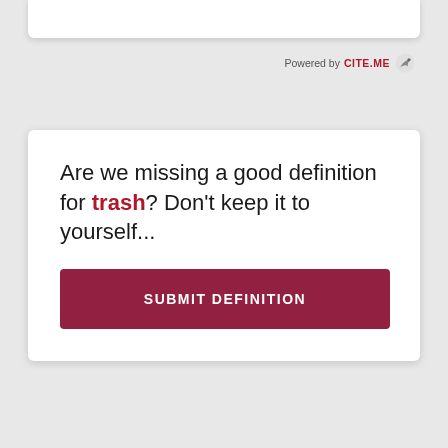[Figure (logo): Powered by CITE.ME logo with bird icon in top right area]
Are we missing a good definition for trash? Don't keep it to yourself...
SUBMIT DEFINITION